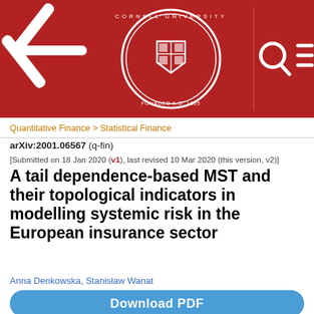[Figure (logo): arXiv header with arXiv logo on the left, Cornell University seal in the center, and search/menu icons on the right, all on a dark red background.]
Quantitative Finance > Statistical Finance
arXiv:2001.06567 (q-fin)
[Submitted on 18 Jan 2020 (v1), last revised 10 Mar 2020 (this version, v2)]
A tail dependence-based MST and their topological indicators in modelling systemic risk in the European insurance sector
Anna Denkowska, Stanisław Wanat
Download PDF
In the present work we analyse the dynamics of indirect connections between insurance companies that result from market price channels. In our analysis we assume that the stock quotations of insurance companies reflect market sentiments which constitute a very important systemic risk factor. Interlinkages between insurers and